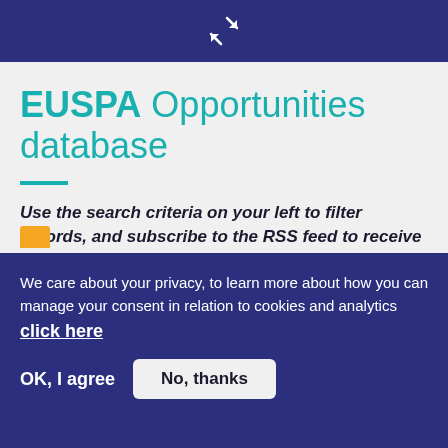[Figure (other): Dark blue header bar with a white collapse/minimize icon (two arrows pointing inward diagonally)]
EUSPA Opportunities database
Use the search criteria on your left to filter records, and subscribe to the RSS feed to receive the latest updates.
We care about your privacy, to learn more about how you can manage your consent in relation to cookies and analytics click here
OK, I agree
No, thanks